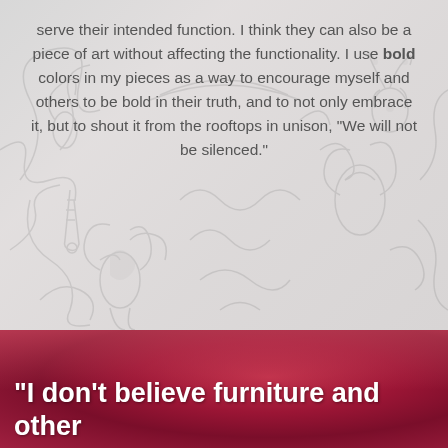serve their intended function.  I think they can also be a piece of art without affecting the functionality.  I use bold colors in my pieces as a way to encourage myself and others to be bold in their truth, and to not only embrace it, but to shout it from the rooftops in unison, "We will not be silenced."
[Figure (photo): Faded/washed-out decorative carved ornamental artwork in the background of the top half of the page, with scrollwork and figurative carved elements in pale grey tones.]
[Figure (photo): Blurred deep crimson/burgundy fabric or textile in the bottom half of the page, serving as a background.]
"I don't believe furniture and other